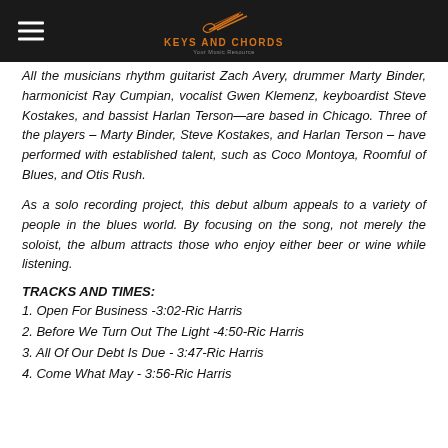Keys and Chords
All the musicians rhythm guitarist Zach Avery, drummer Marty Binder, harmonicist Ray Cumpian, vocalist Gwen Klemenz, keyboardist Steve Kostakes, and bassist Harlan Terson—are based in Chicago. Three of the players – Marty Binder, Steve Kostakes, and Harlan Terson – have performed with established talent, such as Coco Montoya, Roomful of Blues, and Otis Rush.
As a solo recording project, this debut album appeals to a variety of people in the blues world. By focusing on the song, not merely the soloist, the album attracts those who enjoy either beer or wine while listening.
TRACKS AND TIMES:
1. Open For Business -3:02-Ric Harris
2. Before We Turn Out The Light -4:50-Ric Harris
3. All Of Our Debt Is Due - 3:47-Ric Harris
4. Come What May - 3:56-Ric Harris